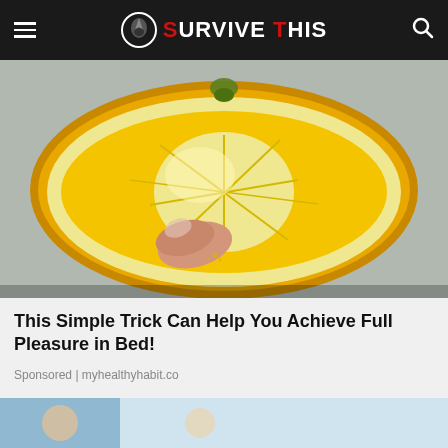SURVIVE THIS
[Figure (photo): Close-up photo of a hand squeezing a halved lemon, showing the yellow citrus flesh and juice]
This Simple Trick Can Help You Achieve Full Pleasure in Bed!
Sponsored | myhealthyhabit.co
[Figure (photo): Partial view of another article thumbnail at the bottom of the page]